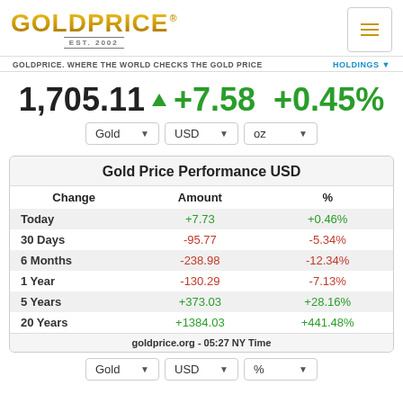[Figure (logo): GoldPrice logo with EST. 2002 subtitle]
GOLDPRICE. WHERE THE WORLD CHECKS THE GOLD PRICE
HOLDINGS
1,705.11 ▲ +7.58 +0.45%
| Change | Amount | % |
| --- | --- | --- |
| Today | +7.73 | +0.46% |
| 30 Days | -95.77 | -5.34% |
| 6 Months | -238.98 | -12.34% |
| 1 Year | -130.29 | -7.13% |
| 5 Years | +373.03 | +28.16% |
| 20 Years | +1384.03 | +441.48% |
goldprice.org - 05:27 NY Time